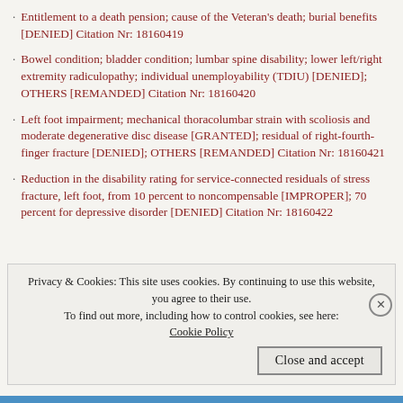Entitlement to a death pension; cause of the Veteran's death; burial benefits [DENIED] Citation Nr: 18160419
Bowel condition; bladder condition; lumbar spine disability; lower left/right extremity radiculopathy; individual unemployability (TDIU) [DENIED]; OTHERS [REMANDED] Citation Nr: 18160420
Left foot impairment; mechanical thoracolumbar strain with scoliosis and moderate degenerative disc disease [GRANTED]; residual of right-fourth-finger fracture [DENIED]; OTHERS [REMANDED] Citation Nr: 18160421
Reduction in the disability rating for service-connected residuals of stress fracture, left foot, from 10 percent to noncompensable [IMPROPER]; 70 percent for depressive disorder [DENIED] Citation Nr: 18160422
Privacy & Cookies: This site uses cookies. By continuing to use this website, you agree to their use. To find out more, including how to control cookies, see here: Cookie Policy